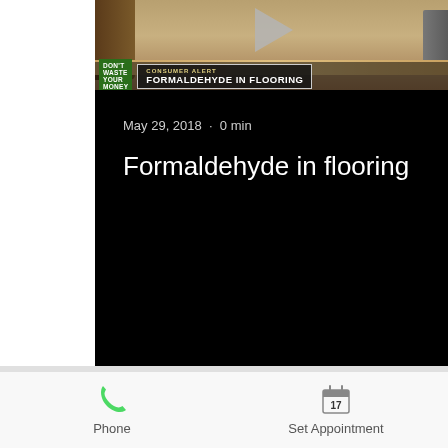[Figure (screenshot): Video thumbnail screenshot showing a news segment about formaldehyde in flooring. Top portion shows a video still of flooring being installed with a 'CONSUMER ALERT: FORMALDEHYDE IN FLOORING' banner. Below is a black panel with date 'May 29, 2018 · 0 min' and title 'Formaldehyde in flooring'.]
May 29, 2018  ·  0 min
Formaldehyde in flooring
Phone
Set Appointment